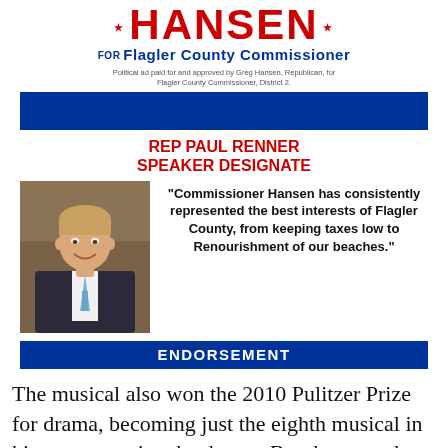[Figure (logo): Greg Hansen for Flagler County Commissioner campaign logo with red text HANSEN and blue subtitle]
Political ad paid for and approved by Greg Hansen, Republican, for Flagler County Commissioner, District 2.
[Figure (other): Solid blue rectangle banner]
REP PAUL RENNER SPEAKER DESIGNATE
[Figure (photo): Photo of Rep Paul Renner, a man in a dark suit with a blue tie, smiling]
"Commissioner Hansen has consistently represented the best interests of Flagler County, from keeping taxes low to Renourishment of our beaches."
[Figure (other): Blue ENDORSEMENT banner]
The musical also won the 2010 Pulitzer Prize for drama, becoming just the eighth musical in history to receive that honor. But that award